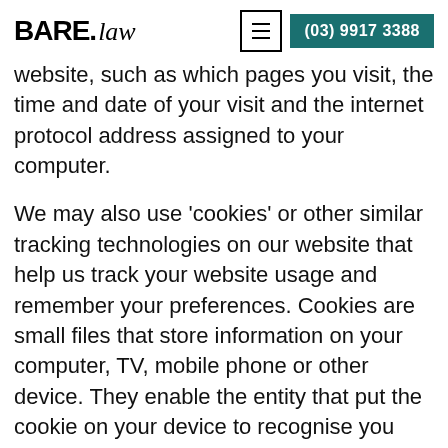BARE.law | (03) 9917 3388
website, such as which pages you visit, the time and date of your visit and the internet protocol address assigned to your computer.
We may also use ‘cookies’ or other similar tracking technologies on our website that help us track your website usage and remember your preferences. Cookies are small files that store information on your computer, TV, mobile phone or other device. They enable the entity that put the cookie on your device to recognise you